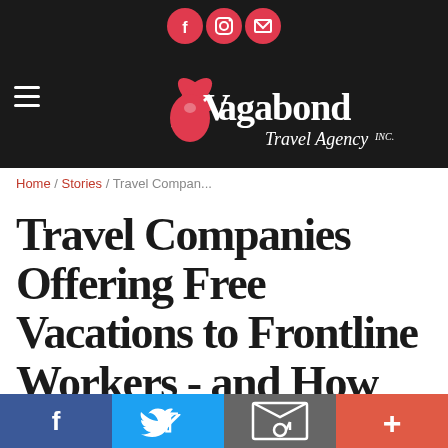[Figure (logo): Vagabond Travel Agency logo with social icons (Facebook, Instagram, Email) and hamburger menu on a dark background header]
Home / Stories / Travel Compan...
Travel Companies Offering Free Vacations to Frontline Workers - and How
[Figure (infographic): Bottom social sharing bar with four buttons: Facebook (blue), Twitter (light blue), Email (gray), and More/Plus (orange-red)]